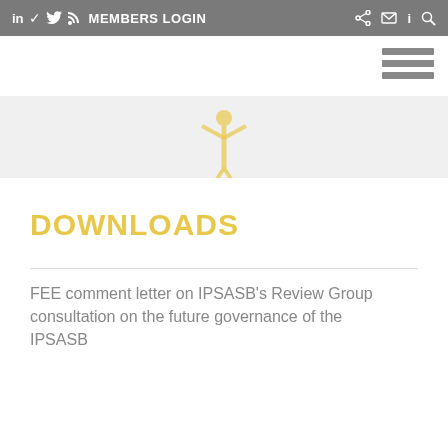in  Twitter  RSS  MEMBERS LOGIN  Share  Mail  i  Search
[Figure (illustration): Yellow/gold human figure icon (person with arms raised) centered on a light gray band]
DOWNLOADS
FEE comment letter on IPSASB's Review Group consultation on the future governance of the IPSASB